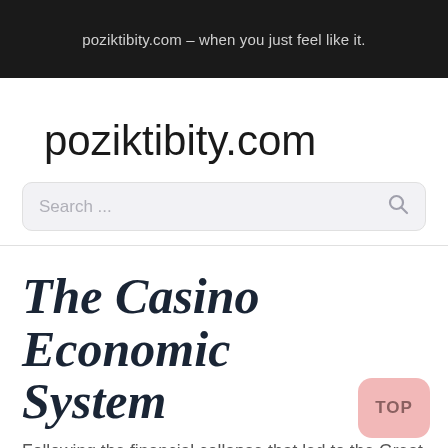poziktibity.com – when you just feel like it.
poziktibity.com
The Casino Economic System
Following the financial collapse that led to the Great Depression of the 1930s, the U.S. government handed the...